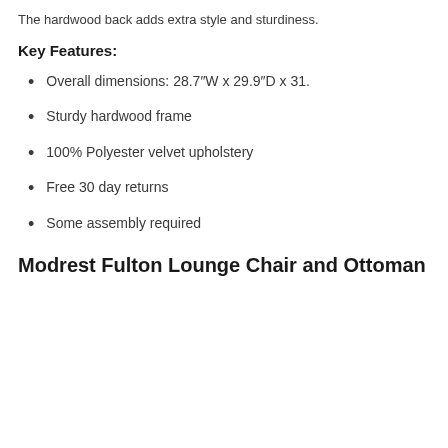The hardwood back adds extra style and sturdiness.
Key Features:
Overall dimensions: 28.7″W x 29.9″D x 31.
Sturdy hardwood frame
100% Polyester velvet upholstery
Free 30 day returns
Some assembly required
Modrest Fulton Lounge Chair and Ottoman